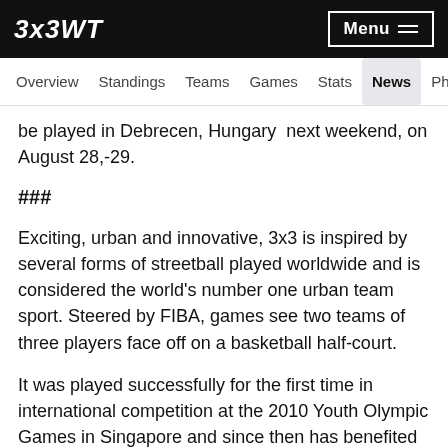3x3WT | Menu
be played in Debrecen, Hungary  next weekend, on August 28,-29.
###
Exciting, urban and innovative, 3x3 is inspired by several forms of streetball played worldwide and is considered the world's number one urban team sport. Steered by FIBA, games see two teams of three players face off on a basketball half-court.
It was played successfully for the first time in international competition at the 2010 Youth Olympic Games in Singapore and since then has benefited from the launch of a yearly city-based FIBA 3x3 World Tour and national-team